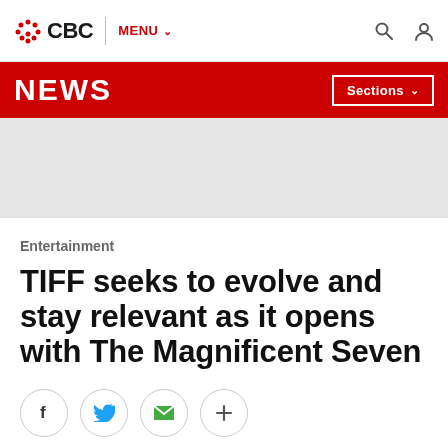CBC | MENU
NEWS | Sections
[Figure (other): Grey advertisement/banner placeholder block]
Entertainment
TIFF seeks to evolve and stay relevant as it opens with The Magnificent Seven
[Figure (infographic): Social share buttons: Facebook, Twitter, Email, More (plus icon)]